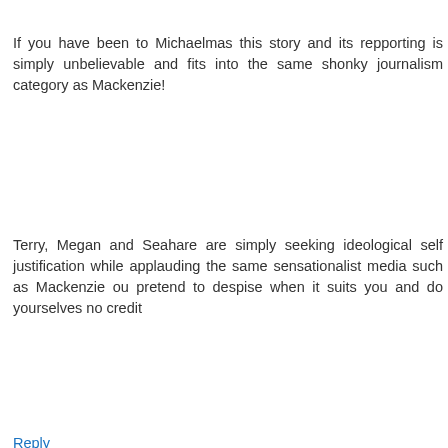If you have been to Michaelmas this story and its repporting is simply unbelievable and fits into the same shonky journalism category as Mackenzie!
Terry, Megan and Seahare are simply seeking ideological self justification while applauding the same sensationalist media such as Mackenzie ou pretend to despise when it suits you and do yourselves no credit
Reply
nomooremike  Wed Jun 29, 11:33:00 pm
Does anyone else get the feeling Kitchen Slut has an interest in this in some way, friends at Passions maybe?
I love the bit about him being able to sit on Michaelmas Cay for the night, had there not been another boat there, and that being OK because it was his own silly fault for not being counted.
He would probably have enjoyed sitting on the sand all...